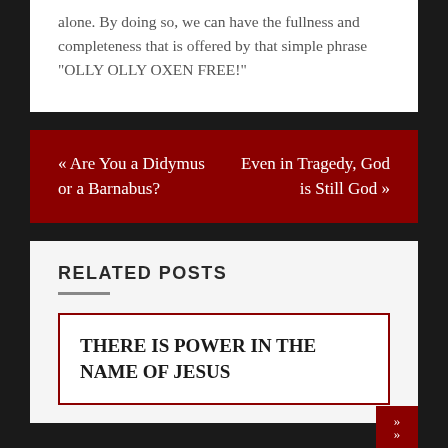alone. By doing so, we can have the fullness and completeness that is offered by that simple phrase “OLLY OLLY OXEN FREE!”
« Are You a Didymus or a Barnabus?
Even in Tragedy, God is Still God »
RELATED POSTS
THERE IS POWER IN THE NAME OF JESUS